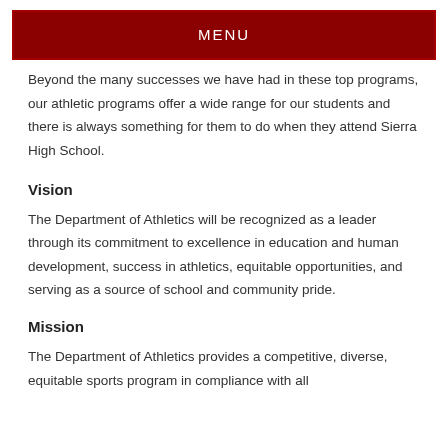MENU
Beyond the many successes we have had in these top programs, our athletic programs offer a wide range for our students and there is always something for them to do when they attend Sierra High School.
Vision
The Department of Athletics will be recognized as a leader through its commitment to excellence in education and human development, success in athletics, equitable opportunities, and serving as a source of school and community pride.
Mission
The Department of Athletics provides a competitive, diverse, equitable sports program in compliance with all